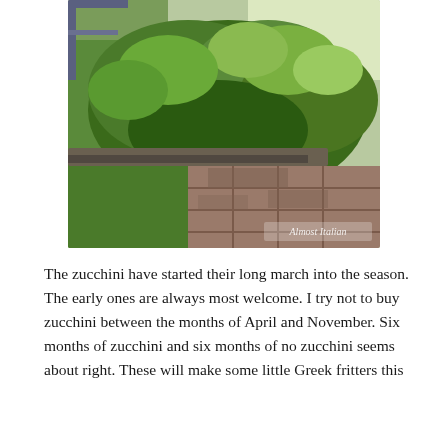[Figure (photo): A garden raised bed with sprawling green tomato or zucchini plants overflowing the wooden border edging, with a brick/paver path visible below in sunlight. Watermark reads 'Almost Italian' in lower right corner.]
The zucchini have started their long march into the season. The early ones are always most welcome. I try not to buy zucchini between the months of April and November. Six months of zucchini and six months of no zucchini seems about right. These will make some little Greek fritters this